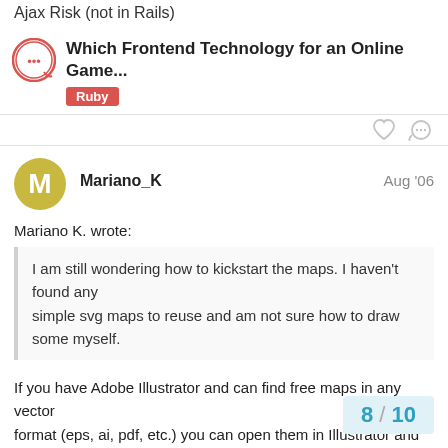Ajax Risk (not in Rails)
Which Frontend Technology for an Online Game...
Ruby
Mariano_K
Aug '06
Mariano K. wrote:
I am still wondering how to kickstart the maps. I haven't found any simple svg maps to reuse and am not sure how to draw some myself.
If you have Adobe Illustrator and can find free maps in any vector format (eps, ai, pdf, etc.) you can open them in Illustrator and save them as SVG files.
8 / 10